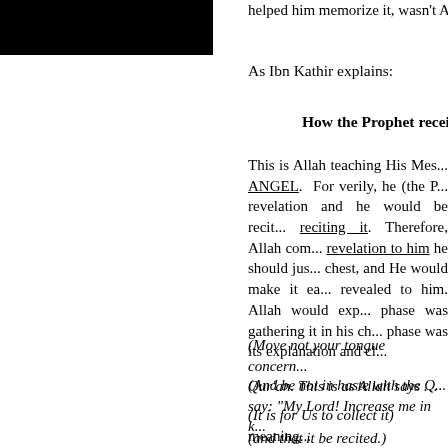[Figure (other): Black rectangle image placeholder in top-left]
helped him memorize it, wasn't All...
As Ibn Kathir explains:
How the Prophet received the h...
This is Allah teaching His Mes... ANGEL. For verily, he (the P... revelation and he would be recit... reciting it. Therefore, Allah com... revelation to him he should jus... chest, and He would make it ea... revealed to him. Allah would exp... phase was gathering it in his ch... phase was its explanation and cl...
(Move not your tongue concern... Qur'an. This is as Allah says …
(And be not in haste with the Q... say: "My Lord! Increase me in k...
(It is for Us to collect it) meaning...
(and that it be recited.) meaning,...